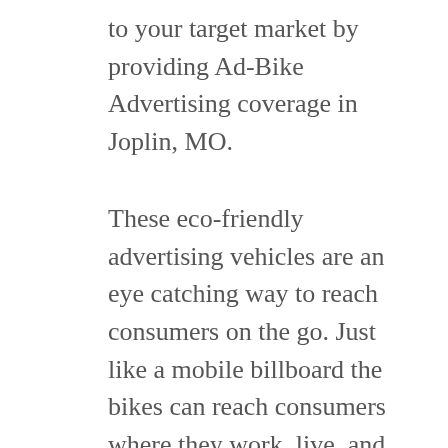to your target market by providing Ad-Bike Advertising coverage in Joplin, MO.
These eco-friendly advertising vehicles are an eye catching way to reach consumers on the go. Just like a mobile billboard the bikes can reach consumers where they work, live, and play. These bike billboards draw positive reactions from viewers. The brand ambassadors can turn this positive first impression into a lasting impression by distributing promotional items from the cargo